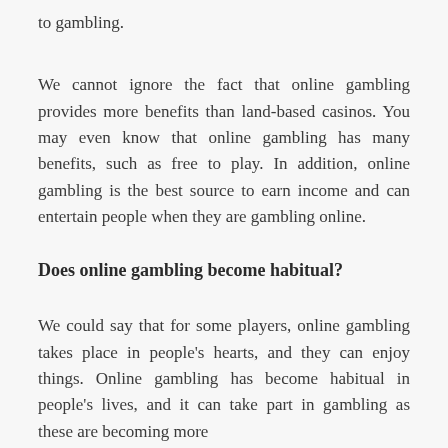to gambling.
We cannot ignore the fact that online gambling provides more benefits than land-based casinos. You may even know that online gambling has many benefits, such as free to play. In addition, online gambling is the best source to earn income and can entertain people when they are gambling online.
Does online gambling become habitual?
We could say that for some players, online gambling takes place in people's hearts, and they can enjoy things. Online gambling has become habitual in people's lives, and it can take part in gambling as these are becoming more